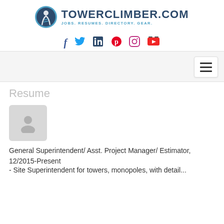[Figure (logo): TowerClimber.com logo with climbing figure icon and tagline JOBS. RESUMES. DIRECTORY. GEAR.]
[Figure (infographic): Social media icons row: Facebook, Twitter, LinkedIn, Pinterest, Instagram, YouTube]
[Figure (infographic): Navigation bar with hamburger menu icon on right]
Resume
[Figure (photo): Generic profile photo placeholder with person silhouette icon]
General Superintendent/ Asst. Project Manager/ Estimator,
12/2015-Present
- Site Superintendent for towers, monopoles, with detail...